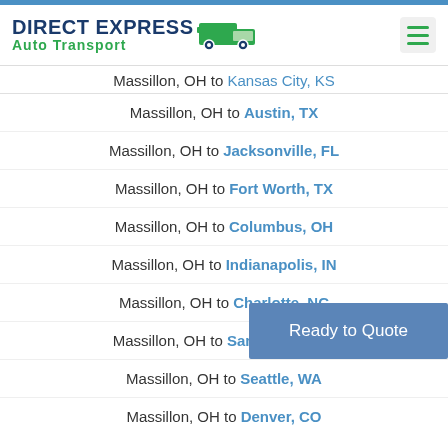Direct Express Auto Transport
Massillon, OH to Kansas City, KS (partially visible)
Massillon, OH to Austin, TX
Massillon, OH to Jacksonville, FL
Massillon, OH to Fort Worth, TX
Massillon, OH to Columbus, OH
Massillon, OH to Indianapolis, IN
Massillon, OH to Charlotte, NC
Massillon, OH to San Francisco, CA
Massillon, OH to Seattle, WA
Massillon, OH to Denver, CO
Ready to Quote